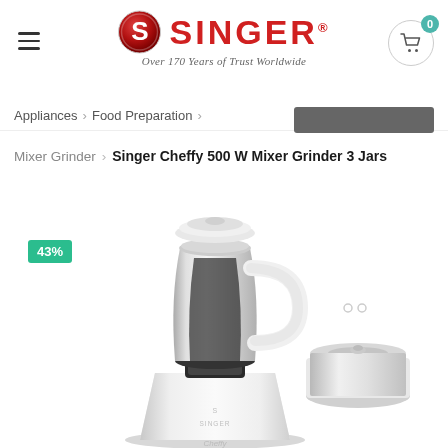SINGER — Over 170 Years of Trust Worldwide
Appliances > Food Preparation >
Mixer Grinder > Singer Cheffy 500 W Mixer Grinder 3 Jars
[Figure (photo): Singer Cheffy 500W Mixer Grinder with 3 jars shown on white background. A 43% discount badge is displayed in teal/green on the upper left of the product image. The mixer grinder is white with stainless steel jars, branded with SINGER and Cheffy logos.]